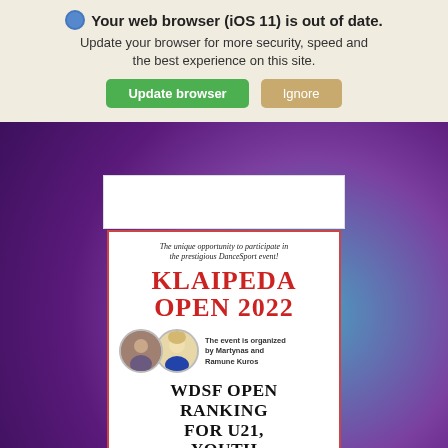Your web browser (iOS 11) is out of date. Update your browser for more security, speed and the best experience on this site.
[Figure (screenshot): Browser update warning banner with Update browser (green) and Ignore (tan) buttons]
[Figure (infographic): Klaipeda Open 2022 WDSF Open Ranking event poster with organizer photos and logos. Text: The unique opportunity to participate in the prestigious DanceSport event! KLAIPEDA OPEN 2022. The event is organized by Martynas and Ramune Kuros. WDSF OPEN RANKING FOR U21, YOUTH AND JUNIOR. September 17th, 2022 Lithuania, Klaipeda.]